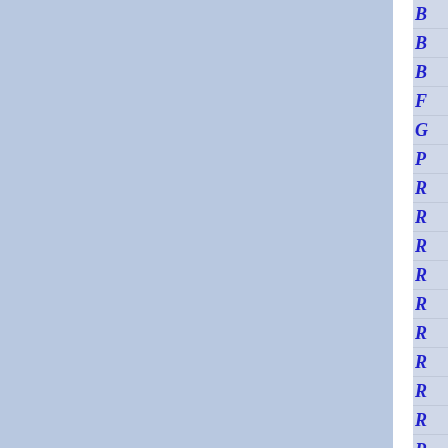[Figure (other): Page showing two large blue-gray rectangular panels separated by a white vertical divider, with a right sidebar containing a column of rows each showing a single italic bold blue letter or character (B, B, B, F, G, P, R, R, R, R, R, R, R, R, R, R) separated by thin horizontal lines.]